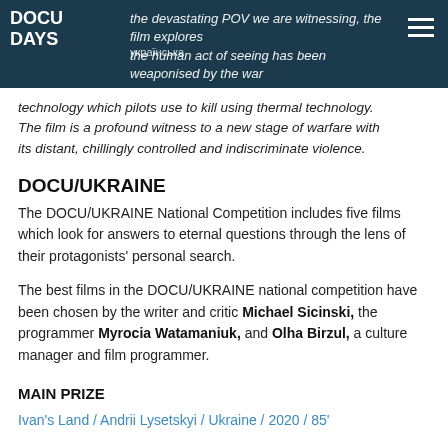DOCU DAYS | українська | the devastating POV we are witnessing, the film explores the human act of seeing has been weaponised by the war technology which pilots use to kill using thermal technology.
technology which pilots use to kill using thermal technology. The film is a profound witness to a new stage of warfare with its distant, chillingly controlled and indiscriminate violence.
DOCU/UKRAINE
The DOCU/UKRAINE National Competition includes five films which look for answers to eternal questions through the lens of their protagonists' personal search.
The best films in the DOCU/UKRAINE national competition have been chosen by the writer and critic Michael Sicinski, the programmer Myrocia Watamaniuk, and Olha Birzul, a culture manager and film programmer.
MAIN PRIZE
Ivan's Land / Andrii Lysetskyi / Ukraine / 2020 / 85'